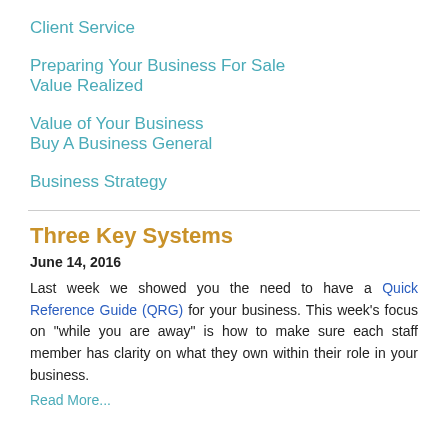Client Service
Preparing Your Business For Sale
Value Realized
Value of Your Business
Buy A Business General
Business Strategy
Three Key Systems
June 14, 2016
Last week we showed you the need to have a Quick Reference Guide (QRG) for your business. This week's focus on "while you are away" is how to make sure each staff member has clarity on what they own within their role in your business.